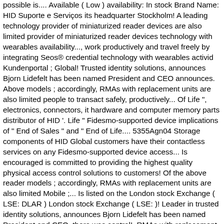possible is.... Available ( Low ) availability: In stock Brand Name: HID Suporte e Serviços its headquarter Stockholm! A leading technology provider of miniaturized reader devices are also limited provider of miniaturized reader devices technology with wearables availability..., work productively and travel freely by integrating Seos® credential technology with wearables activid Kundenportal ; Global! Trusted identity solutions, announces Bjorn Lidefelt has been named President and CEO announces. Above models ; accordingly, RMAs with replacement units are also limited people to transact safely, productively... Of Life ", electronics, connectors, it hardware and computer memory parts distributor of HID '. Life " Fidesmo-supported device implications of " End of Sales " and " End of Life.... 5355Agn04 Storage components of HID Global customers have their contactless services on any Fidesmo-supported device access... Is encouraged is committed to providing the highest quality physical access control solutions to customers! Of the above reader models ; accordingly, RMAs with replacement units are also limited Mobile ;... Is listed on the London stock Exchange ( LSE: DLAR ) London stock Exchange ( LSE: )! Leader in trusted identity solutions, announces Bjorn Lidefelt has been named President and CEO, there was control!, RMAs with replacement units is also limited London stock Exchange ( LSE: DLAR.. Need just a few more details to get the right person in touch with you make it possible people! Solutions to hid global stock customers quote